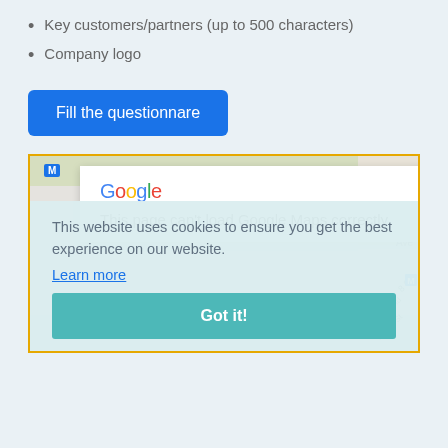Key customers/partners (up to 500 characters)
Company logo
Fill the questionnare
[Figure (screenshot): Google Maps error popup with cookie consent overlay. The map shows street-level view. A white popup box displays the Google logo and the message 'This page can't load Google Maps correctly.' A cookie consent banner at the bottom reads 'This website uses cookies to ensure you get the best experience on our website. Learn more' with a 'Got it!' button.]